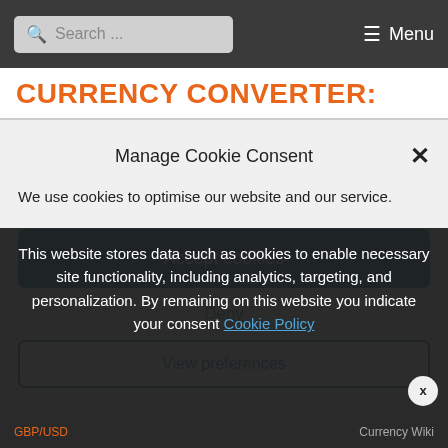Search ...   ☰ Menu
CURRENCY CONVERTER:
Manage Cookie Consent
We use cookies to optimise our website and our service.
Accept cookies
Deny
View preferences
This website stores data such as cookies to enable necessary site functionality, including analytics, targeting, and personalization. By remaining on this website you indicate your consent Cookie Policy
GBP/USD    Currency Wiki